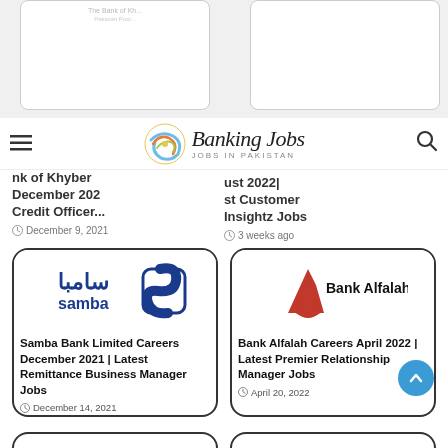[Figure (logo): Banking Jobs - Jobs in Pakistan logo with globe/swirl graphic]
nk of Khyber December 202 Credit Officer...
December 9, 2021
«Limited ust 2022| st Customer Insightz Jobs
3 weeks ago
[Figure (logo): Samba Bank logo - blue Arabic text samba with stylized S icon]
Samba Bank Limited Careers December 2021 | Latest Remittance Business Manager Jobs
December 14, 2021
[Figure (logo): Bank Alfalah logo - red arrow/heart A shape with Bank Alfalah text]
Bank Alfalah Careers April 2022 | Latest Premier Relationship Manager Jobs
April 20, 2022